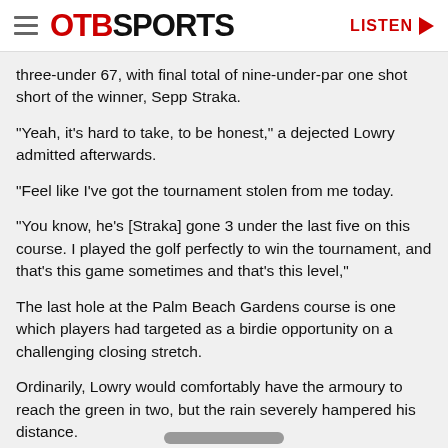OTB SPORTS | LISTEN
three-under 67, with final total of nine-under-par one shot short of the winner, Sepp Straka.
"Yeah, it's hard to take, to be honest," a dejected Lowry admitted afterwards.
"Feel like I've got the tournament stolen from me today.
"You know, he's [Straka] gone 3 under the last five on this course. I played the golf perfectly to win the tournament, and that's this game sometimes and that's this level,"
The last hole at the Palm Beach Gardens course is one which players had targeted as a birdie opportunity on a challenging closing stretch.
Ordinarily, Lowry would comfortably have the armoury to reach the green in two, but the rain severely hampered his distance.
The Offaly native's tee shot travelled just 241 yards, compared to the 334-yard carry Straka managed having played his tee shot before the rain arrived.